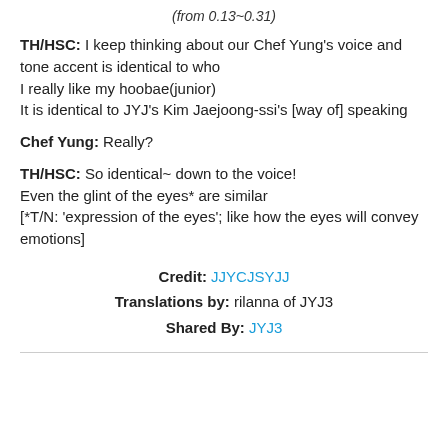(from 0.13~0.31)
TH/HSC: I keep thinking about our Chef Yung's voice and tone accent is identical to who
I really like my hoobae(junior)
It is identical to JYJ's Kim Jaejoong-ssi's [way of] speaking
Chef Yung: Really?
TH/HSC: So identical~ down to the voice!
Even the glint of the eyes* are similar
[*T/N: 'expression of the eyes'; like how the eyes will convey emotions]
Credit: JJYCJSYJJ
Translations by: rilanna of JYJ3
Shared By: JYJ3